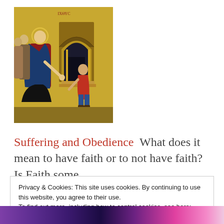[Figure (illustration): Byzantine-style icon painting showing Jesus (in red and blue robes) with a group of disciples behind him on the left, and a man bowing/kneeling before an arched doorway on the right, rendered in traditional gold-background iconographic style.]
Suffering and Obedience  What does it mean to have faith or to not have faith? Is Faith some
Privacy & Cookies: This site uses cookies. By continuing to use this website, you agree to their use.
To find out more, including how to control cookies, see here:
Cookie Policy
Close and accept
[Figure (illustration): Colorful banner strip at the bottom showing stylized illustrated faces/characters with purple, blue, pink and white tones.]